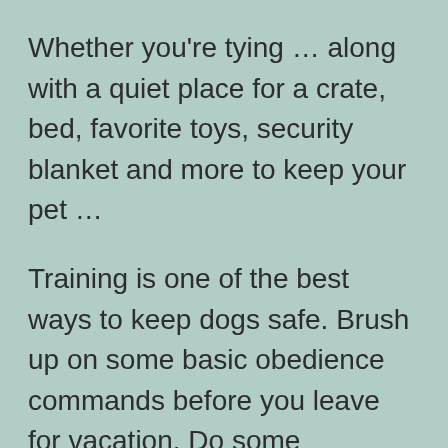Whether you're tying … along with a quiet place for a crate, bed, favorite toys, security blanket and more to keep your pet …
Training is one of the best ways to keep dogs safe. Brush up on some basic obedience commands before you leave for vacation. Do some refreshers on recall and loose leash walking. If your dog is going to be crated …
To understand the reasons behind crating, you must first understand that dogs feel the most safe … crate, there should never be a moment when your dog is pushed in forcefully. You